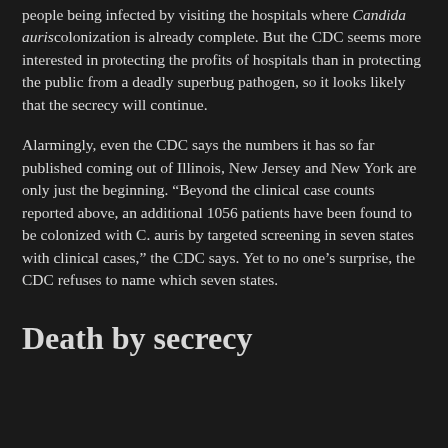people being infected by visiting the hospitals where Candida auris colonization is already complete. But the CDC seems more interested in protecting the profits of hospitals than in protecting the public from a deadly superbug pathogen, so it looks likely that the secrecy will continue.
Alarmingly, even the CDC says the numbers it has so far published coming out of Illinois, New Jersey and New York are only just the beginning. “Beyond the clinical case counts reported above, an additional 1056 patients have been found to be colonized with C. auris by targeted screening in seven states with clinical cases,” the CDC says. Yet to no one’s surprise, the CDC refuses to name which seven states.
Death by secrecy